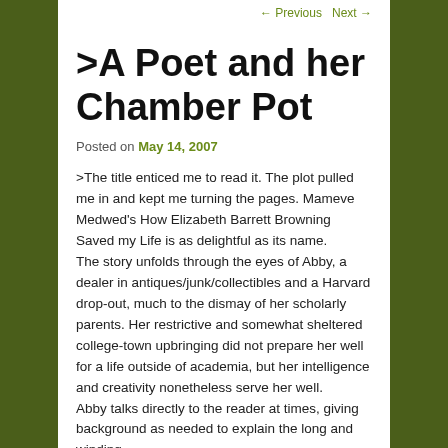← Previous   Next →
>A Poet and her Chamber Pot
Posted on May 14, 2007
>The title enticed me to read it. The plot pulled me in and kept me turning the pages. Mameve Medwed's How Elizabeth Barrett Browning Saved my Life is as delightful as its name.
The story unfolds through the eyes of Abby, a dealer in antiques/junk/collectibles and a Harvard drop-out, much to the dismay of her scholarly parents. Her restrictive and somewhat sheltered college-town upbringing did not prepare her well for a life outside of academia, but her intelligence and creativity nonetheless serve her well.
Abby talks directly to the reader at times, giving background as needed to explain the long and winding